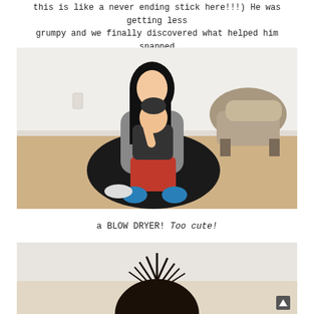this is like a never ending stick here!!!) He was getting less grumpy and we finally discovered what helped him snapped back to his normal self again...
[Figure (photo): A woman sitting cross-legged on a wooden floor with a baby on her lap. The baby is wearing a graphic tee and red pants with blue socks. A modern chair is visible in the background.]
a BLOW DRYER! Too cute!
[Figure (photo): Close-up of what appears to be hair or fur being blown, partially visible at bottom of page.]